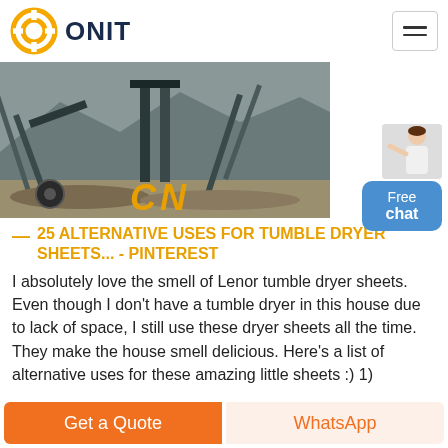ONIT
[Figure (photo): Industrial mining/quarry conveyor belt facility with large machinery and steel structures, with 'CN' text overlay in orange italic]
25 ALTERNATIVE USES FOR TUMBLE DRYER SHEETS... - PINTEREST
I absolutely love the smell of Lenor tumble dryer sheets. Even though I don't have a tumble dryer in this house due to lack of space, I still use these dryer sheets all the time. They make the house smell delicious. Here's a list of alternative uses for these amazing little sheets :) 1)
Get a Quote | WhatsApp